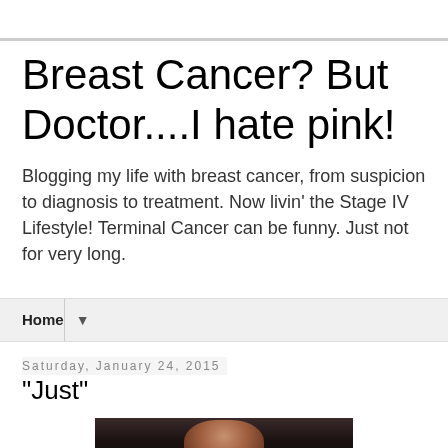Breast Cancer? But Doctor....I hate pink!
Blogging my life with breast cancer, from suspicion to diagnosis to treatment. Now livin' the Stage IV Lifestyle! Terminal Cancer can be funny. Just not for very long.
Home
Saturday, January 24, 2015
"Just"
[Figure (photo): A photo of a person with dark hair against a dark background]